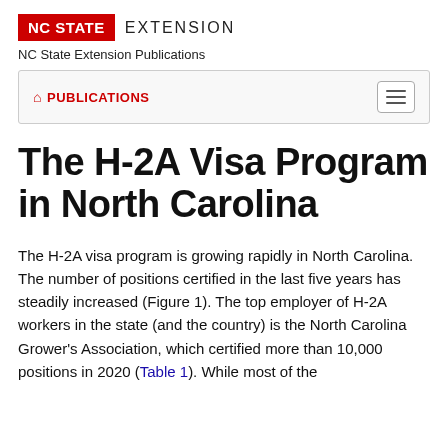NC STATE EXTENSION
NC State Extension Publications
🏠 PUBLICATIONS
The H-2A Visa Program in North Carolina
The H-2A visa program is growing rapidly in North Carolina. The number of positions certified in the last five years has steadily increased (Figure 1). The top employer of H-2A workers in the state (and the country) is the North Carolina Grower's Association, which certified more than 10,000 positions in 2020 (Table 1). While most of the